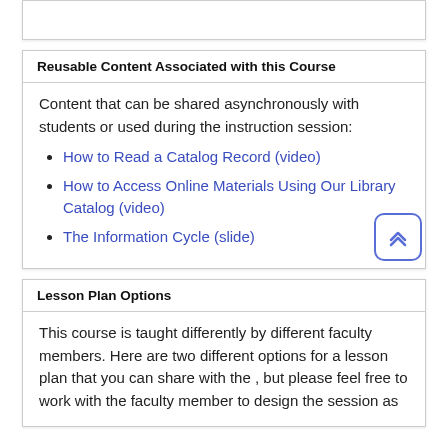Reusable Content Associated with this Course
Content that can be shared asynchronously with students or used during the instruction session:
How to Read a Catalog Record (video)
How to Access Online Materials Using Our Library Catalog (video)
The Information Cycle (slide)
Lesson Plan Options
This course is taught differently by different faculty members. Here are two different options for a lesson plan that you can share with the , but please feel free to work with the faculty member to design the session as